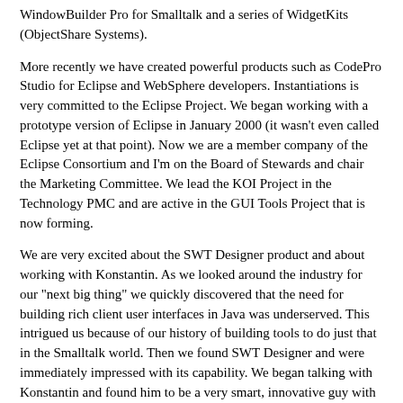WindowBuilder Pro for Smalltalk and a series of WidgetKits (ObjectShare Systems).
More recently we have created powerful products such as CodePro Studio for Eclipse and WebSphere developers. Instantiations is very committed to the Eclipse Project. We began working with a prototype version of Eclipse in January 2000 (it wasn't even called Eclipse yet at that point). Now we are a member company of the Eclipse Consortium and I'm on the Board of Stewards and chair the Marketing Committee. We lead the KOI Project in the Technology PMC and are active in the GUI Tools Project that is now forming.
We are very excited about the SWT Designer product and about working with Konstantin. As we looked around the industry for our "next big thing" we quickly discovered that the need for building rich client user interfaces in Java was underserved. This intrigued us because of our history of building tools to do just that in the Smalltalk world. Then we found SWT Designer and were immediately impressed with its capability. We began talking with Konstantin and found him to be a very smart, innovative guy with a great sense of how to create and enhance his products. The rest is history...and now we look forward to working with both Konstantin and you to make SWT Designer an even better product.
I say we look forward to working with you because Instantiations